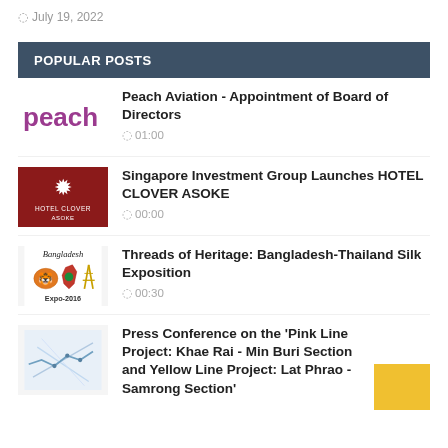July 19, 2022
POPULAR POSTS
Peach Aviation - Appointment of Board of Directors
01:00
Singapore Investment Group Launches HOTEL CLOVER ASOKE
00:00
Threads of Heritage: Bangladesh-Thailand Silk Exposition
00:30
Press Conference on the 'Pink Line Project: Khae Rai - Min Buri Section and Yellow Line Project: Lat Phrao - Samrong Section'